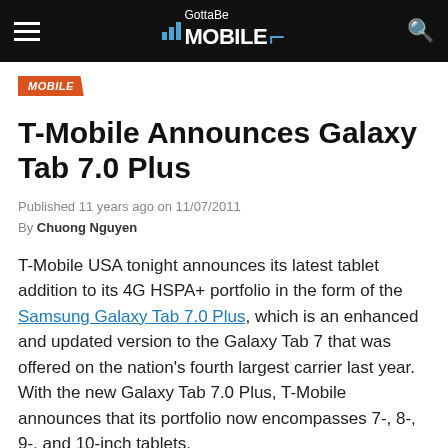GottaBeMobile
MOBILE
T-Mobile Announces Galaxy Tab 7.0 Plus
Published 11 years ago on 11/07/2011
By Chuong Nguyen
T-Mobile USA tonight announces its latest tablet addition to its 4G HSPA+ portfolio in the form of the Samsung Galaxy Tab 7.0 Plus, which is an enhanced and updated version to the Galaxy Tab 7 that was offered on the nation's fourth largest carrier last year. With the new Galaxy Tab 7.0 Plus, T-Mobile announces that its portfolio now encompasses 7-, 8-, 9-, and 10-inch tablets.
The new Galaxy Tab 7.0 Plus has it